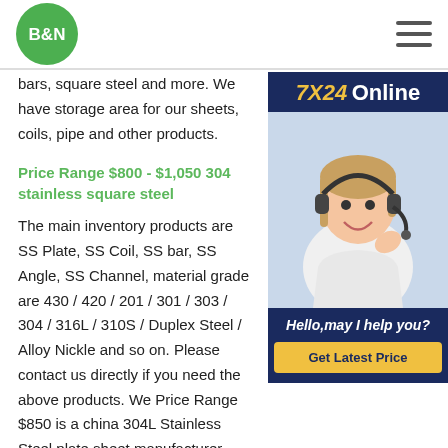B&N logo and navigation menu
[Figure (infographic): 7X24 Online chat widget with customer service photo, 'Hello, may I help you?' text and 'Get Latest Price' button]
bars, square steel and more. We have storage area for our sheets, coils, pipe and other products.
Price Range $800 - $1,050 304 stainless square steel
The main inventory products are SS Plate, SS Coil, SS bar, SS Angle, SS Channel, material grade are 430 / 420 / 201 / 301 / 303 / 304 / 316L / 310S / Duplex Steel / Alloy Nickle and so on. Please contact us directly if you need the above products. We Price Range $850 is a china 304L Stainless Steel plate sheet manufacturer. We can provide the best 304L Stainless Steel sheet price